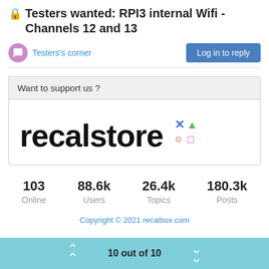🔒 Testers wanted: RPI3 internal Wifi - Channels 12 and 13
Testers's corner
Log in to reply
Want to support us ?
[Figure (logo): recalstore logo with colorful game controller symbols (X, triangle, circle, square)]
103 Online   88.6k Users   26.4k Topics   180.3k Posts
Copyright © 2021 recalbox.com
10 out of 10